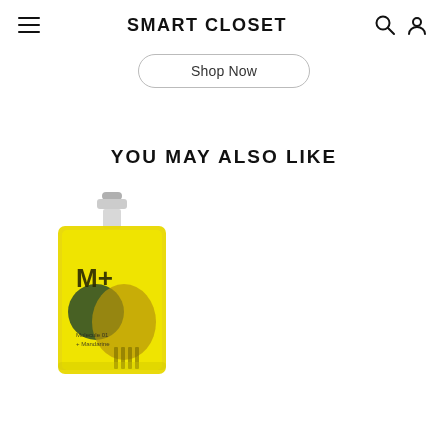SMART CLOSET
Shop Now
YOU MAY ALSO LIKE
[Figure (photo): Yellow perfume bottle labeled M+ with Molecule 01 + Mandarine, featuring graphic design artwork]